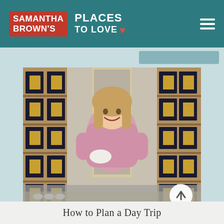Samantha Brown's Places to Love
[Figure (photo): Woman in pink sweater holding a white tea cup, standing in front of shelves filled with dark tea tins with gold labels, in what appears to be a tea shop]
How to Plan a Day Trip